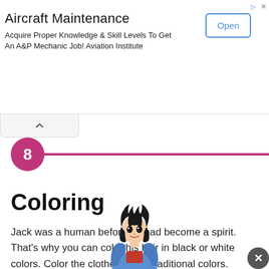[Figure (screenshot): Advertisement banner for Aircraft Maintenance course. Title reads 'Aircraft Maintenance', body text: 'Acquire Proper Knowledge & Skill Levels To Get An A&P Mechanic Job! Aviation Institute', with an 'Open' button on the right.]
[Figure (other): Collapse/chevron tab UI element with upward-pointing caret.]
8
Coloring
Jack was a human before he had become a spirit. That’s why you can color his hair in black or white colors. Color the clothes in the traditional colors.
[Figure (illustration): Cartoon illustration of a young male character with dark spiky hair wearing a blue hoodie over a red shirt, partially cropped at the bottom of the page.]